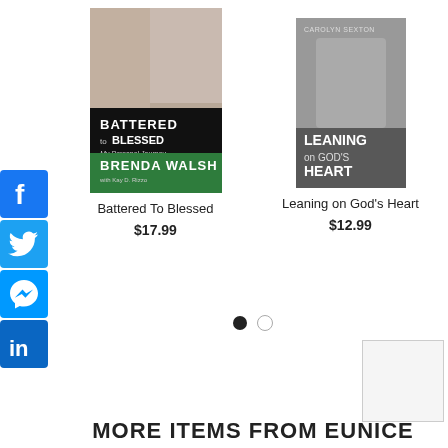[Figure (illustration): Facebook share button icon (blue square with white F)]
[Figure (illustration): Twitter share button icon (blue square with white bird)]
[Figure (illustration): Facebook Messenger share button icon (blue square with white lightning bolt)]
[Figure (illustration): LinkedIn share button icon (blue square with white 'in')]
[Figure (photo): Book cover: Battered to Blessed My Personal Journey by Brenda Walsh]
Battered To Blessed
$17.99
[Figure (photo): Book cover: Leaning on God's Heart by Carolyn Sexton]
Leaning on God's Heart
$12.99
[Figure (illustration): Pagination dots: one filled black circle and one empty circle]
[Figure (illustration): Small thumbnail placeholder box (white/gray square)]
MORE ITEMS FROM EUNICE